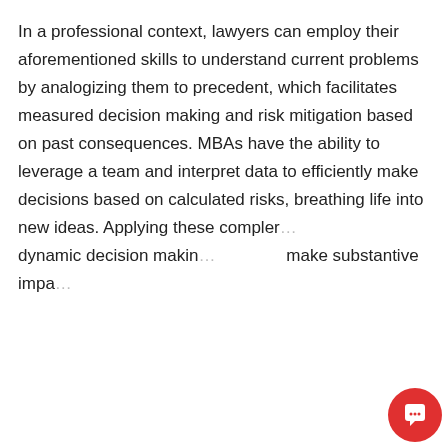In a professional context, lawyers can employ their aforementioned skills to understand current problems by analogizing them to precedent, which facilitates measured decision making and risk mitigation based on past consequences. MBAs have the ability to leverage a team and interpret data to efficiently make decisions based on calculated risks, breathing life into new ideas. Applying these complementary abilities in dynamic decision making… make substantive impact…
[Figure (other): Chat popup from Stratus Admissions Counseling with a dark blue circular logo icon and a close button (×). The popup reads: 'Welcome to Stratus Admissions Counseling! How can I help you?' A red circular chat button appears in the bottom-right corner.]
2. Independent Work and Teamwork
In law school, one primarily takes a more individualistic